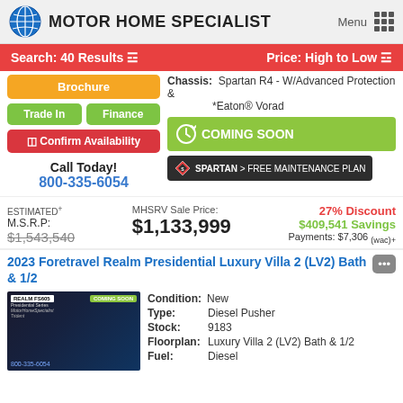MOTOR HOME SPECIALIST
Search: 40 Results | Price: High to Low
Chassis: Spartan R4 - W/Advanced Protection & *Eaton® Vorad
[Figure (screenshot): Coming Soon green banner with clock icon]
[Figure (logo): Spartan Free Maintenance Plan badge]
Brochure
Trade In | Finance
Confirm Availability
Call Today! 800-335-6054
ESTIMATED+ M.S.R.P.: $1,543,540 | MHSRV Sale Price: $1,133,999 | 27% Discount $409,541 Savings Payments: $7,306 (wac)+
2023 Foretravel Realm Presidential Luxury Villa 2 (LV2) Bath & 1/2
[Figure (photo): 2023 Foretravel Realm FS605 Presidential Series motorhome listing photo with Coming Soon badge]
| Field | Value |
| --- | --- |
| Condition: | New |
| Type: | Diesel Pusher |
| Stock: | 9183 |
| Floorplan: | Luxury Villa 2 (LV2) Bath & 1/2 |
| Fuel: | Diesel |